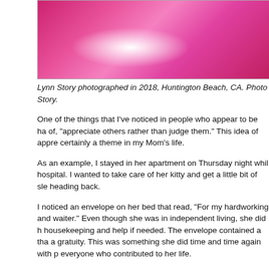[Figure (photo): Photo of Lynn Story wearing a bright pink top, photographed in 2018 at Huntington Beach, CA.]
Lynn Story photographed in 2018, Huntington Beach, CA. Photo Story.
One of the things that I've noticed in people who appear to be ha of, "appreciate others rather than judge them." This idea of appre certainly a theme in my Mom's life.
As an example, I stayed in her apartment on Thursday night whil hospital. I wanted to take care of her kitty and get a little bit of sle heading back.
I noticed an envelope on her bed that read, "For my hardworking and waiter." Even though she was in independent living, she did h housekeeping and help if needed. The envelope contained a tha a gratuity. This was something she did time and time again with p everyone who contributed to her life.
There’s a reason why some people go directly to heaven. Caring respecting others is at the top of the list.